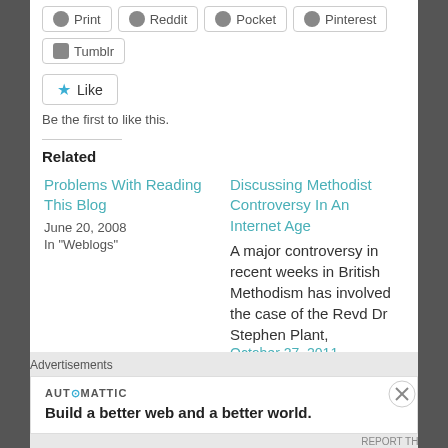[Figure (screenshot): Social share buttons: Print, Reddit, Pocket, Pinterest, Tumblr]
[Figure (screenshot): Like button with star icon]
Be the first to like this.
Related
Problems With Reading This Blog
June 20, 2008
In "Weblogs"
Discussing Methodist Controversy In An Internet Age
A major controversy in recent weeks in British Methodism has involved the case of the Revd Dr Stephen Plant,
October 27, 2011
Advertisements
[Figure (screenshot): Automattic advertisement: Build a better web and a better world.]